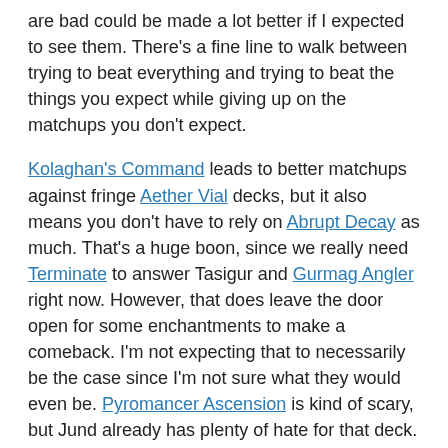are bad could be made a lot better if I expected to see them. There's a fine line to walk between trying to beat everything and trying to beat the things you expect while giving up on the matchups you don't expect.
Kolaghan's Command leads to better matchups against fringe Aether Vial decks, but it also means you don't have to rely on Abrupt Decay as much. That's a huge boon, since we really need Terminate to answer Tasigur and Gurmag Angler right now. However, that does leave the door open for some enchantments to make a comeback. I'm not expecting that to necessarily be the case since I'm not sure what they would even be. Pyromancer Ascension is kind of scary, but Jund already has plenty of hate for that deck.
Right now, I'm not sure what I should do. G/R Tron has not been popular as of late, and while I would expect that to continue, SSL may have changed that. It's only an 8-man,